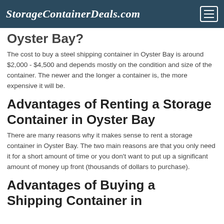StorageContainerDeals.com
Oyster Bay?
The cost to buy a steel shipping container in Oyster Bay is around $2,000 - $4,500 and depends mostly on the condition and size of the container. The newer and the longer a container is, the more expensive it will be.
Advantages of Renting a Storage Container in Oyster Bay
There are many reasons why it makes sense to rent a storage container in Oyster Bay. The two main reasons are that you only need it for a short amount of time or you don't want to put up a significant amount of money up front (thousands of dollars to purchase).
Advantages of Buying a Shipping Container in